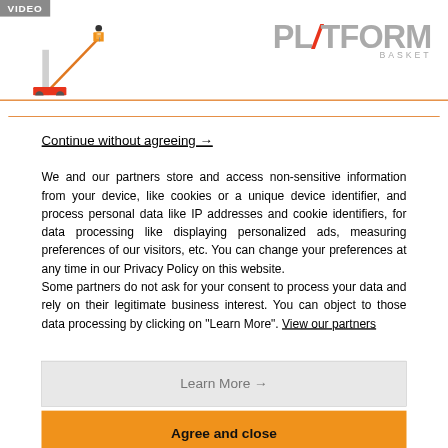VIDEO — Platform Basket logo header
Continue without agreeing →
We and our partners store and access non-sensitive information from your device, like cookies or a unique device identifier, and process personal data like IP addresses and cookie identifiers, for data processing like displaying personalized ads, measuring preferences of our visitors, etc. You can change your preferences at any time in our Privacy Policy on this website.
Some partners do not ask for your consent to process your data and rely on their legitimate business interest. You can object to those data processing by clicking on "Learn More". View our partners
Learn More →
Agree and close